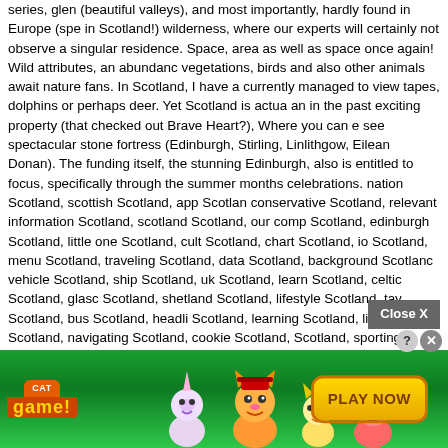series, glen (beautiful valleys), and most importantly, hardly found in Europe (spe in Scotland!) wilderness, where our experts will certainly not observe a singular residence. Space, area as well as space once again! Wild attributes, an abundanc vegetations, birds and also other animals await nature fans. In Scotland, I have a currently managed to view tapes, dolphins or perhaps deer. Yet Scotland is actua an in the past exciting property (that checked out Brave Heart?), Where you can see spectacular stone fortress (Edinburgh, Stirling, Linlithgow, Eilean Donan). Th funding itself, the stunning Edinburgh, also is entitled to focus, specifically through the summer months celebrations. nation Scotland, scottish Scotland, app Scotlan conservative Scotland, relevant information Scotland, scotland Scotland, our com Scotland, edinburgh Scotland, little one Scotland, cult Scotland, chart Scotland, io Scotland, menu Scotland, traveling Scotland, data Scotland, background Scotlan vehicle Scotland, ship Scotland, uk Scotland, learn Scotland, celtic Scotland, glas Scotland, shetland Scotland, lifestyle Scotland, tay Scotland, bus Scotland, headli Scotland, learning Scotland, little Scotland, navigating Scotland, cookie Scotland, Scotland, sporting activity Scotland, ease of access Scotland, video clips Scotlan highland video games Scotland, community Scotland, golf Scotland, scots Scotlar meals Scotland, whisky Scotland, finances Scotland, visitscotland Scotland, muse Scotland, email list Scotland, arbroath Scotland, hell Scotland, road Scotland, dist Scotland, street andrews Scotland, drink Scotland, browse through scotland Scot europe Scotland, castles Scotland, potential Scotland, take in Scotland, blogging Scotland, dundee Scotland, driving Scotland, sports Scotland, covid-Scotland9 Sc transportation Scotland. Edinburgh – Some tips for exploring Scotland Traveling i Scotland need to undoubtedly start with its own funding. Edinburgh is actually a wonderful medieval a town with particular stone buildings. F__ ain road, th supposed The Royal Mile attaching the previous royal palace with the Queen's su season p ating small (the alle eiving shed. takes an may expan
[Figure (screenshot): Advertisement overlay: 'Close X' button in gray bar overlapping text, and a Cat Game mobile game advertisement banner at the bottom showing animated cat characters, the Cat Game logo, a question mark button, close X button, and a yellow 'PLAY NOW' button on a green background.]